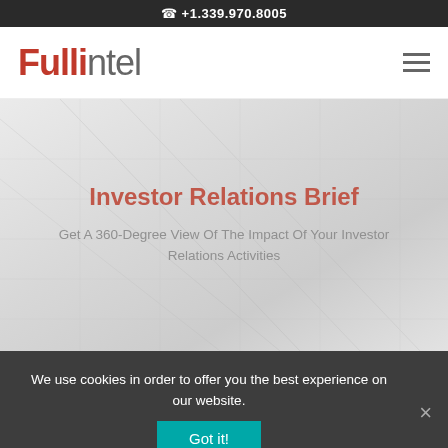+1.339.970.8005
[Figure (logo): Fullintel logo with red 'Full' and gray 'intel' text]
Investor Relations Brief
Get A 360-Degree View Of The Impact Of Your Investor Relations Activities
We use cookies in order to offer you the best experience on our website.
Got it!